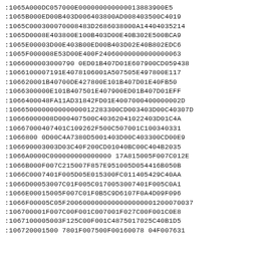:1065A000DC057000E000000000000013883900E5
:1065B000ED00B403D006403800AD008403500C4019
:1065C000300070008483D2686038000A14404035214
:1065D0008E403800E100B403D00E40B302E500BCA9
:1065E00003D00E403B00ED00B403D02E40B802EDC6
:1065F000008E53D00E400F240600000000000000063
:106600000300079 00ED01B407D01E607900CD059438
:106610000719 1E4078106001A507505E497800E117
:106620001B40700DE427800E101B407D01E40FB50
:1066300000E101B407501E407900ED01B407D01EFF
:1066400048FA11AD31842FD01E40070004000 00002D
:1066500000000000001228 33300CD003403D00C40307D
:106660000 8D000407500C40362041022403D01C4A
:1066700040 7401C109262F500C507001C100340331
:106680 00D00C4A7380D5001403D00C403300CD00E9
:106690003003D03C40F200CD01040BC00C404B2035
:1066A0000C00000000000000 17A815005F007C012E
:1066B000F007C215007F857E951005D054416B050B
:1066C0007401F005D05E015300FC011405429C40AA
:1066D00053007C01F005C0170053007401F005C0A1
:1066E00015005F007C01F0B5C9D6107F0A4D09F096
:1066F00005C05F200600000000000000000120007 0037
:106700001F007C00F001C007001F027C00F001C0E8
:1067100005003F125C00F001C4875017025C40B1D5
:106720001500780 1F007500F001600780 4F007631